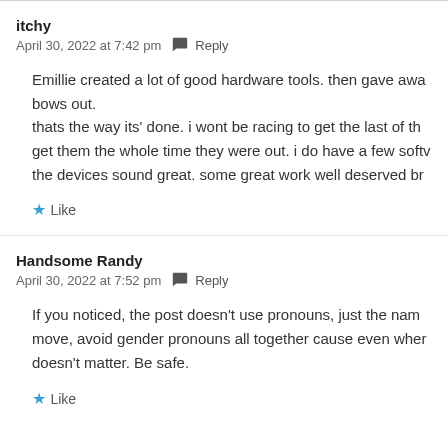itchy
April 30, 2022 at 7:42 pm  Reply
Emillie created a lot of good hardware tools. then gave awa bows out.
thats the way its' done. i wont be racing to get the last of th get them the whole time they were out. i do have a few softv the devices sound great. some great work well deserved br
Like
Handsome Randy
April 30, 2022 at 7:52 pm  Reply
If you noticed, the post doesn't use pronouns, just the nam move, avoid gender pronouns all together cause even wher doesn't matter. Be safe.
Like